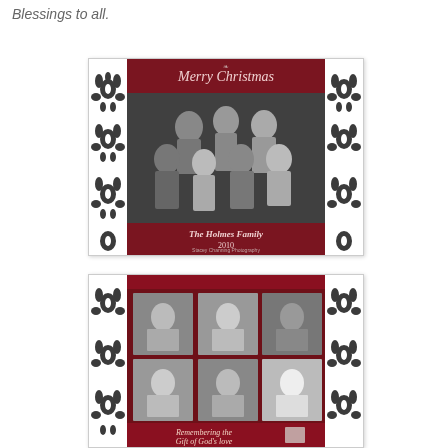Blessings to all.
[Figure (photo): Christmas card featuring a family portrait in black and white with decorative damask border pattern in black and white on sides, red banner at top reading 'Merry Christmas', and red footer reading 'The Holmes Family 2010' with photographer credit.]
[Figure (photo): Second Christmas card with decorative damask border pattern, dark red background with six individual portrait photos of children arranged in two rows of three, and script text at bottom reading 'Remembering the Gift of God's love'.]